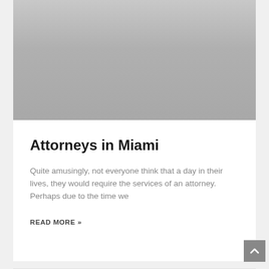[Figure (photo): Gray gradient placeholder image area at top of card]
Attorneys in Miami
Quite amusingly, not everyone think that a day in their lives, they would require the services of an attorney. Perhaps due to the time we
READ MORE »